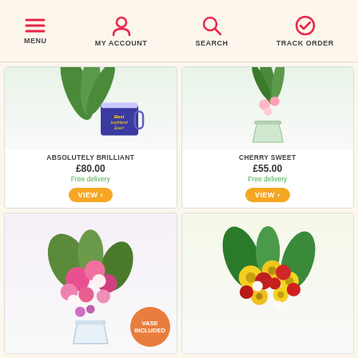MENU | MY ACCOUNT | SEARCH | TRACK ORDER
[Figure (photo): Product card: Absolutely Brilliant - flowers with 'Best Boyfriend Ever!' mug, price £80.00, free delivery, VIEW button]
[Figure (photo): Product card: Cherry Sweet - flowers in glass vase, price £55.00, free delivery, VIEW button]
[Figure (photo): Product card: Pink flower bouquet with vase included badge]
[Figure (photo): Product card: Yellow and red flower bouquet]